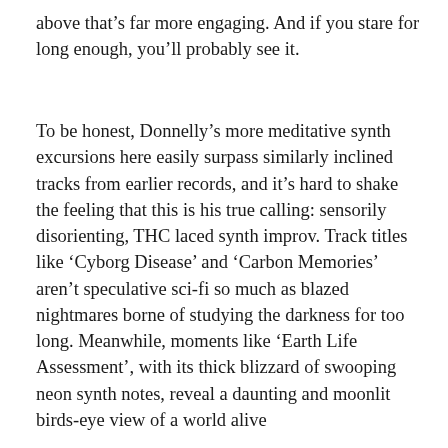above that's far more engaging. And if you stare for long enough, you'll probably see it.
To be honest, Donnelly's more meditative synth excursions here easily surpass similarly inclined tracks from earlier records, and it's hard to shake the feeling that this is his true calling: sensorily disorienting, THC laced synth improv. Track titles like 'Cyborg Disease' and 'Carbon Memories' aren't speculative sci-fi so much as blazed nightmares borne of studying the darkness for too long. Meanwhile, moments like 'Earth Life Assessment', with its thick blizzard of swooping neon synth notes, reveal a daunting and moonlit birds-eye view of a world alive